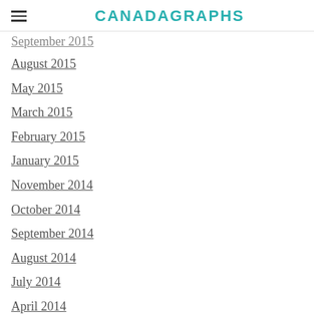CANADAGRAPHS
September 2015
August 2015
May 2015
March 2015
February 2015
January 2015
November 2014
October 2014
September 2014
August 2014
July 2014
April 2014
March 2014
February 2014
December 2013